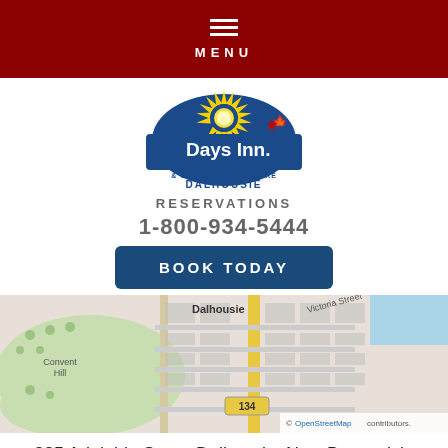MENU
[Figure (logo): Days Inn & Conference Centre Dalhousie logo with sun rays, maple leaf, and blue shield]
RESERVATIONS
1-800-934-5444
BOOK TODAY
[Figure (map): OpenStreetMap showing Dalhousie area with Convent Hill, Victoria Street, and route 134 marked]
385 Adelaide Street Dalhousie, New Brunswick, E8C 1B4, CANADA